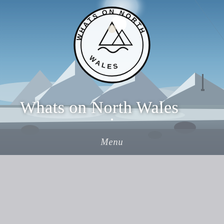[Figure (photo): Snowy mountain landscape with blue sky and clouds below the peaks, serving as hero background for a North Wales website]
[Figure (logo): Circular logo reading 'WHATS ON NORTH WALES' around the border with a mountain and wave icon in the center]
Whats on North Wales
Menu
Tag: driftwood mirrors